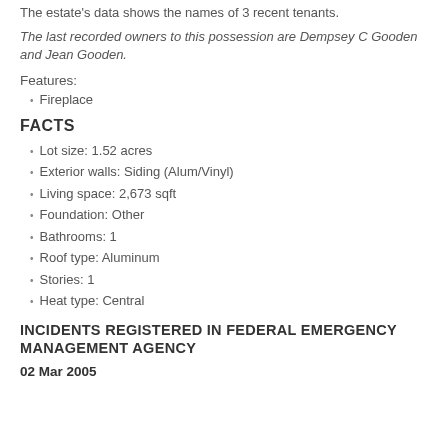The estate's data shows the names of 3 recent tenants.
The last recorded owners to this possession are Dempsey C Gooden and Jean Gooden.
Features:
Fireplace
FACTS
Lot size: 1.52 acres
Exterior walls: Siding (Alum/Vinyl)
Living space: 2,673 sqft
Foundation: Other
Bathrooms: 1
Roof type: Aluminum
Stories: 1
Heat type: Central
INCIDENTS REGISTERED IN FEDERAL EMERGENCY MANAGEMENT AGENCY
02 Mar 2005